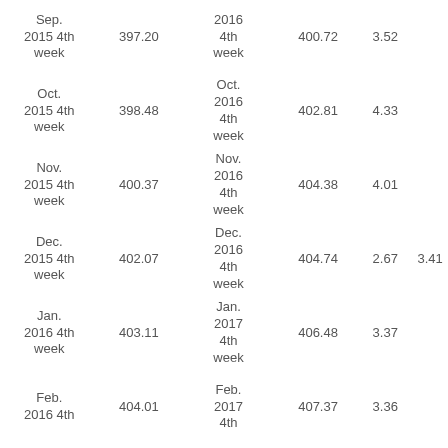| Period (2015) | Value | Period (2016/2017) | Value | Col5 | Col6 |
| --- | --- | --- | --- | --- | --- |
| Sep. 2015 4th week | 397.20 | 2016 4th week | 400.72 | 3.52 |  |
| Oct. 2015 4th week | 398.48 | Oct. 2016 4th week | 402.81 | 4.33 |  |
| Nov. 2015 4th week | 400.37 | Nov. 2016 4th week | 404.38 | 4.01 |  |
| Dec. 2015 4th week | 402.07 | Dec. 2016 4th week | 404.74 | 2.67 | 3.41 |
| Jan. 2016 4th week | 403.11 | Jan. 2017 4th week | 406.48 | 3.37 |  |
| Feb. 2016 4th week | 404.01 | Feb. 2017 4th week | 407.37 | 3.36 |  |